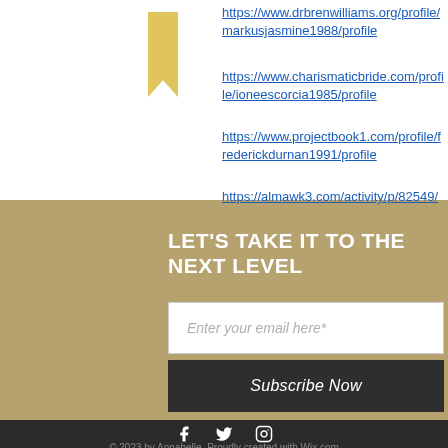https://www.drbrenwilliams.org/profile/markusjasmine1988/profile
https://www.charismaticbride.com/profile/ioneescorcia1985/profile
https://www.projectbook1.com/profile/frederickdurnan1991/profile
https://almawk3.com/activity/p/82549/
LET'S TAKE IT TO THE NEXT LEVEL
Enter your email here*
Subscribe Now
© 2023 by Annabelle. Proudly created with Wix.com